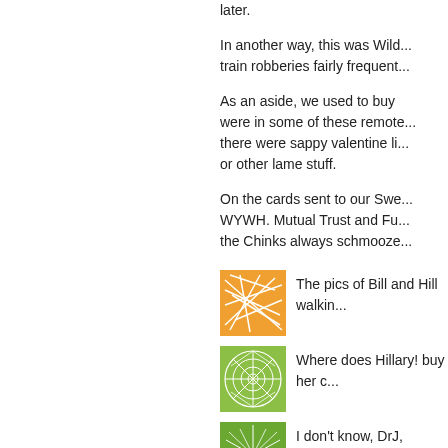later.
In another way, this was Wild... train robberies fairly frequent...
As an aside, we used to buy ... were in some of these remote... there were sappy valentine li... or other lame stuff.
On the cards sent to our Swe... WYWH. Mutual Trust and Fu... the Chinks always schmooze...
[Figure (illustration): Orange square thumbnail with white geometric web/crack pattern]
The pics of Bill and Hill walkin...
[Figure (illustration): Green square thumbnail with white radial sunburst/starburst pattern]
Where does Hillary! buy her c...
[Figure (illustration): Green square thumbnail with white radiating lines pattern]
I don't know, DrJ, Hillary's no...